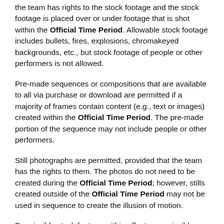the team has rights to the stock footage and the stock footage is placed over or under footage that is shot within the Official Time Period. Allowable stock footage includes bullets, fires, explosions, chromakeyed backgrounds, etc., but stock footage of people or other performers is not allowed.
Pre-made sequences or compositions that are available to all via purchase or download are permitted if a majority of frames contain content (e.g., text or images) created within the Official Time Period. The pre-made portion of the sequence may not include people or other performers.
Still photographs are permitted, provided that the team has the rights to them. The photos do not need to be created during the Official Time Period; however, stills created outside of the Official Time Period may not be used in sequence to create the illusion of motion.
Permissible stock footage within effects, permissible pre-made sequences, and still photographs must all be accompanied by a Materials Release demonstrating that the team has rights to use them.